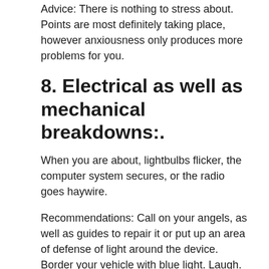Advice: There is nothing to stress about. Points are most definitely taking place, however anxiousness only produces more problems for you.
8. Electrical as well as mechanical breakdowns:.
When you are about, lightbulbs flicker, the computer system secures, or the radio goes haywire.
Recommendations: Call on your angels, as well as guides to repair it or put up an area of defense of light around the device. Border your vehicle with blue light. Laugh.
9. Lightheadedness.